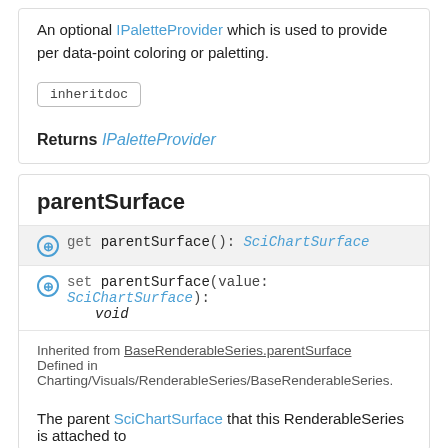An optional IPaletteProvider which is used to provide per data-point coloring or paletting.
inheritdoc
Returns IPaletteProvider
parentSurface
⊕ get parentSurface(): SciChartSurface
⊕ set parentSurface(value: SciChartSurface): void
Inherited from BaseRenderableSeries.parentSurface
Defined in Charting/Visuals/RenderableSeries/BaseRenderableSeries.
The parent SciChartSurface that this RenderableSeries is attached to